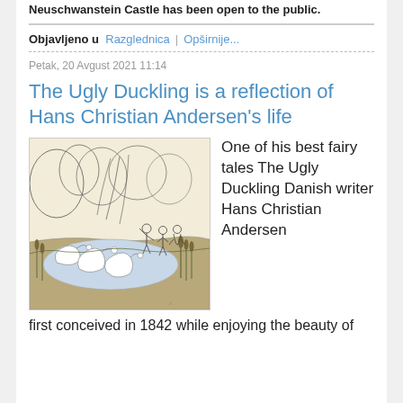Neuschwanstein Castle has been open to the public.
Objavljeno u  Razglednica  |  Opširnije...
Petak, 20 Avgust 2021 11:14
The Ugly Duckling is a reflection of Hans Christian Andersen's life
[Figure (illustration): Classic pen-and-ink illustration of swans on a pond with children watching from the bank, trees in background]
One of his best fairy tales The Ugly Duckling Danish writer Hans Christian Andersen first conceived in 1842 while enjoying the beauty of